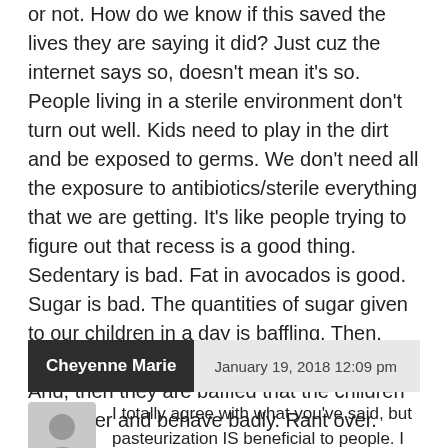or not. How do we know if this saved the lives they are saying it did? Just cuz the internet says so, doesn't mean it's so. People living in a sterile environment don't turn out well. Kids need to play in the dirt and be exposed to germs. We don't need all the exposure to antibiotics/sterile everything that we are getting. It's like people trying to figure out that recess is a good thing. Sedentary is bad. Fat in avocados is good. Sugar is bad. The quantities of sugar given to our children in a day is baffling. Then, they don't want to let them go out to recess. And, then they are baffled that the children are hyper and behave badly. Rant over.
Cheyenne Marie — January 19, 2018 12:09 pm
I totally agree with what you've said, but pasteurization IS beneficial to people. I live on a dairy farm drinking